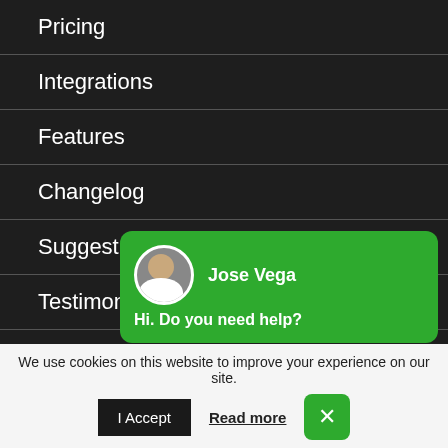Pricing
Integrations
Features
Changelog
Suggest new features
Testimonials and reviews
COMPANY
Company
[Figure (screenshot): Chat widget popup from Jose Vega saying 'Hi. Do you need help?' with green background and avatar photo]
We use cookies on this website to improve your experience on our site.
I Accept   Read more   X